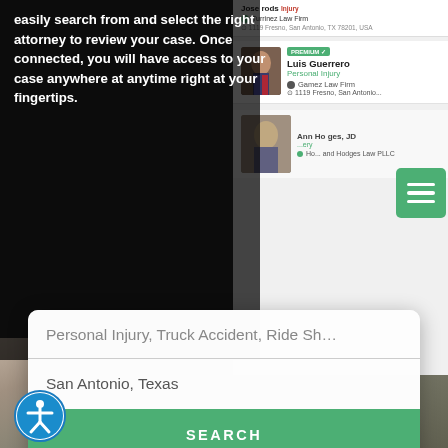[Figure (screenshot): Legal attorney search website screenshot shown on a laptop screen with dark background overlay. Left side shows white bold hero text. Right side shows attorney listing cards for Luis Guerrero (Personal Injury, Gamez Law Firm, Fresno San Antonio TX). A green hamburger menu button is visible. A search modal overlay shows fields for 'Personal Injury, Truck Accident, Ride Sh...' and 'San Antonio, Texas' with a green SEARCH button. An accessibility icon (person in circle) appears at bottom left.]
easily search from and select the right attorney to review your case. Once connected, you will have access to your case anywhere at anytime right at your fingertips.